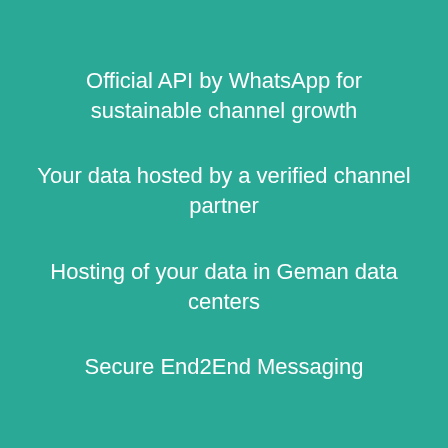Official API by WhatsApp for sustainable channel growth
Your data hosted by a verified channel partner
Hosting of your data in Geman data centers
Secure End2End Messaging